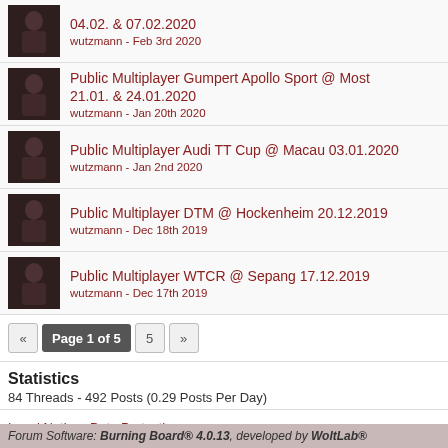04.02. & 07.02.2020 — wutzmann - Feb 3rd 2020
Public Multiplayer Gumpert Apollo Sport @ Most 21.01. & 24.01.2020 — wutzmann - Jan 20th 2020
Public Multiplayer Audi TT Cup @ Macau 03.01.2020 — wutzmann - Jan 2nd 2020
Public Multiplayer DTM @ Hockenheim 20.12.2019 — wutzmann - Dec 18th 2019
Public Multiplayer WTCR @ Sepang 17.12.2019 — wutzmann - Dec 17th 2019
Page 1 of 5  5
Statistics
84 Threads - 492 Posts (0.29 Posts Per Day)
Legal Notice  Data Protection
Forum Software: Burning Board® 4.0.13, developed by WoltLab®